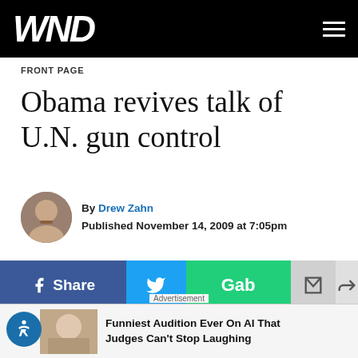WND
FRONT PAGE
Obama revives talk of U.N. gun control
By Drew Zahn
Published November 14, 2009 at 7:05pm
[Figure (infographic): Social share bar with Facebook Share, Twitter, Gab, email, and forward buttons]
Gun rights supporters are up in arms over a pair of
[Figure (infographic): Advertisement bar: Funniest Audition Ever On AI That Judges Can't Stop Laughing]